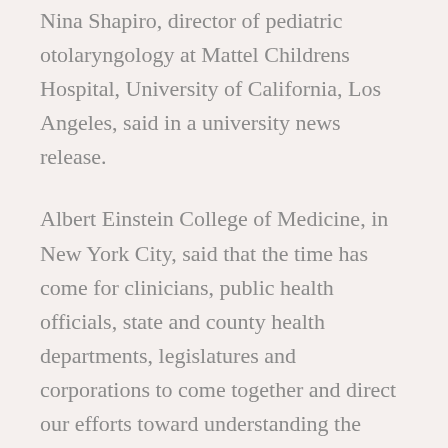Nina Shapiro, director of pediatric otolaryngology at Mattel Childrens Hospital, University of California, Los Angeles, said in a university news release.
Albert Einstein College of Medicine, in New York City, said that the time has come for clinicians, public health officials, state and county health departments, legislatures and corporations to come together and direct our efforts toward understanding the etiology and prevention of injury, in particular by poisoning via prescription medications, falls in the elderly, and most importantly, suicide which is the only intentional injury in this group.